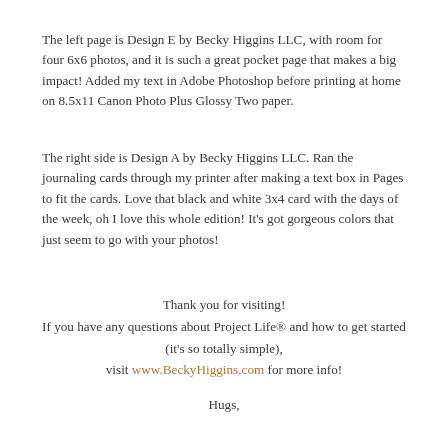The left page is Design E by Becky Higgins LLC, with room for four 6x6 photos, and it is such a great pocket page that makes a big impact! Added my text in Adobe Photoshop before printing at home on 8.5x11 Canon Photo Plus Glossy Two paper.
The right side is Design A by Becky Higgins LLC. Ran the journaling cards through my printer after making a text box in Pages to fit the cards. Love that black and white 3x4 card with the days of the week, oh I love this whole edition! It's got gorgeous colors that just seem to go with your photos!
Thank you for visiting! If you have any questions about Project Life® and how to get started (it's so totally simple), visit www.BeckyHiggins.com for more info!
Hugs,